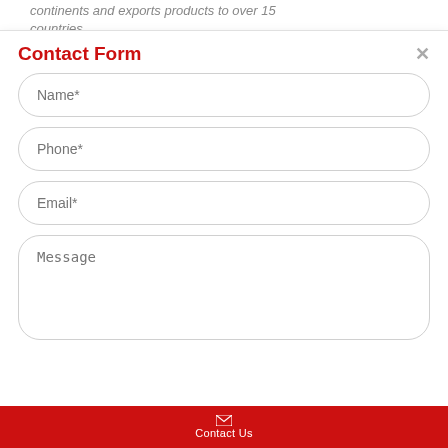continents and exports products to over 15 countries.
Contact Form
Name*
Phone*
Email*
Message
Contact Us